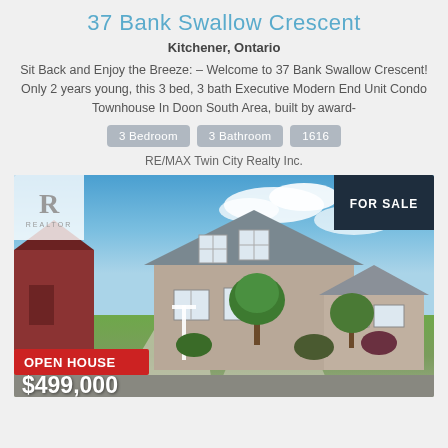37 Bank Swallow Crescent
Kitchener, Ontario
Sit Back and Enjoy the Breeze: – Welcome to 37 Bank Swallow Crescent! Only 2 years young, this 3 bed, 3 bath Executive Modern End Unit Condo Townhouse In Doon South Area, built by award-
3 Bedroom   3 Bathroom   1616
RE/MAX Twin City Realty Inc.
[Figure (photo): Exterior photo of a two-storey house with a red barn on the left, green trees, blue sky with clouds. Shows a FOR SALE badge top right, REALTOR logo top left, OPEN HOUSE badge bottom left, and price $499,000 bottom left.]